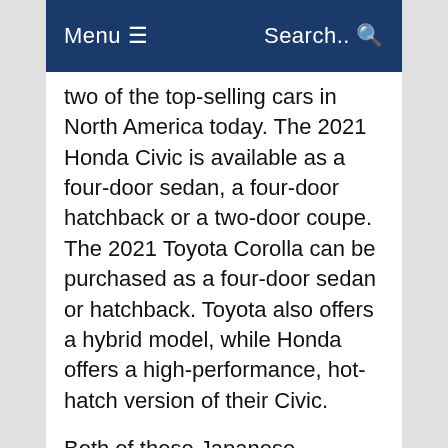Menu ☰   Search.. 🔍
two of the top-selling cars in North America today. The 2021 Honda Civic is available as a four-door sedan, a four-door hatchback or a two-door coupe. The 2021 Toyota Corolla can be purchased as a four-door sedan or hatchback. Toyota also offers a hybrid model, while Honda offers a high-performance, hot-hatch version of their Civic.
Both of these Japanese automakers have excellent reputations for building long-lasting and reliable vehicles. Honda, in particular, is known for their durable engines. Toyota is known for building low-maintenance cars with long lifespans. Both companies have loyal fans that